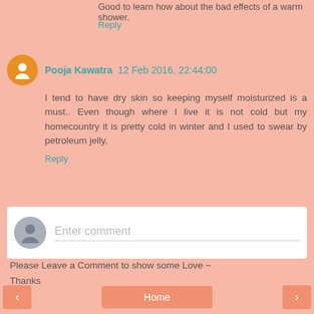Good to learn how about the bad effects of a warm shower.
Reply
Pooja Kawatra 12 Feb 2016, 22:44:00
I tend to have dry skin so keeping myself moisturized is a must.. Even though where I live it is not cold but my homecountry it is pretty cold in winter and I used to swear by petroleum jelly.
Reply
Enter comment
Please Leave a Comment to show some Love ~ Thanks
‹
Home
›